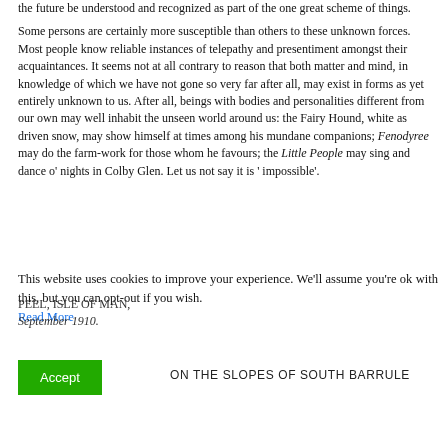the future be understood and recognized as part of the one great scheme of things.
Some persons are certainly more susceptible than others to these unknown forces. Most people know reliable instances of telepathy and presentiment amongst their acquaintances. It seems not at all contrary to reason that both matter and mind, in knowledge of which we have not gone so very far after all, may exist in forms as yet entirely unknown to us. After all, beings with bodies and personalities different from our own may well inhabit the unseen world around us: the Fairy Hound, white as driven snow, may show himself at times among his mundane companions; Fenodyree may do the farm-work for those whom he favours; the Little People may sing and dance o' nights in Colby Glen. Let us not say it is 'impossible'.
This website uses cookies to improve your experience. We'll assume you're ok with this, but you can opt-out if you wish. Read More
PEEL, ISLE OF MAN, September 1910.
Accept
ON THE SLOPES OF SOUTH BARRULE